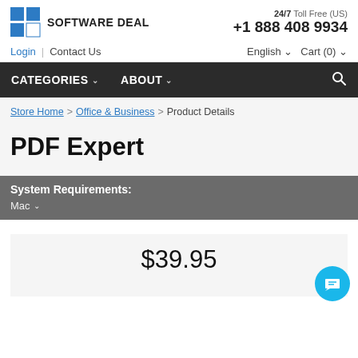[Figure (logo): Software Deal logo with blue square icon and text SOFTWARE DEAL]
24/7 Toll Free (US) +1 888 408 9934
Login | Contact Us
English ∨  Cart (0) ∨
CATEGORIES ∨   ABOUT ∨
Store Home > Office & Business > Product Details
PDF Expert
System Requirements:
Mac ∨
$39.95